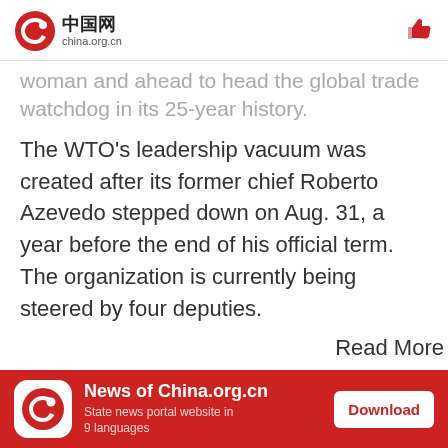中国网 china.org.cn
woman and ahead to head the global trade watchdog in its 25-year history.
The WTO's leadership vacuum was created after its former chief Roberto Azevedo stepped down on Aug. 31, a year before the end of his official term. The organization is currently being steered by four deputies.
Read More
News of China.org.cn — State news portal website in 9 languages — Download